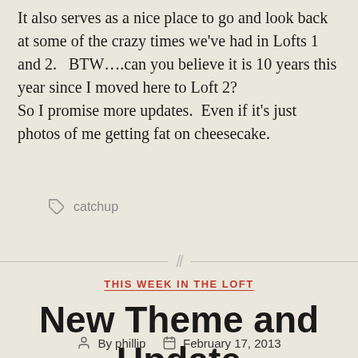It also serves as a nice place to go and look back at some of the crazy times we've had in Lofts 1 and 2.   BTW….can you believe it is 10 years this year since I moved here to Loft 2?
So I promise more updates.  Even if it's just photos of me getting fat on cheesecake.
catchup
THIS WEEK IN THE LOFT
New Theme and Update
By phillip   February 17, 2013